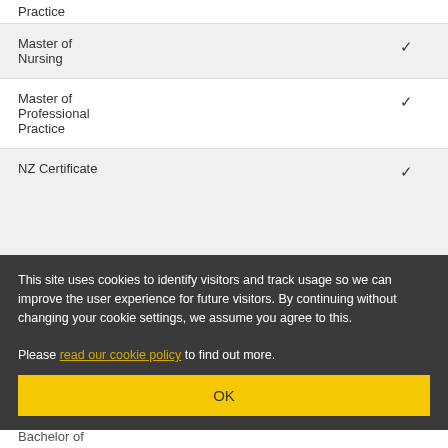Practice
| Qualification | Checkbox |
| --- | --- |
| Master of Nursing | ✓ |
| Master of Professional Practice | ✓ |
| NZ Certificate | ✓ |
| Bachelor of |  |
This site uses cookies to identify visitors and track usage so we can improve the user experience for future visitors. By continuing without changing your cookie settings, we assume you agree to this.

Please read our cookie policy to find out more.
OK